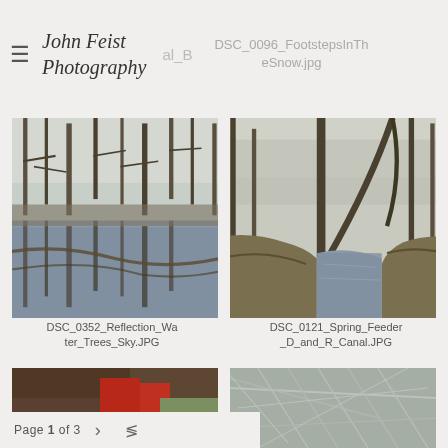John Feist Photography   al_B   DSC_0096_FootstepsInTheSnow.jpg
[Figure (photo): Flooded woodland with bare trees reflected in still water, branches scattered across the water surface]
DSC_0352_Reflection_Water_Trees_Sky.JPG
[Figure (photo): Creek or canal with muddy water flowing between banks with bare trees and brush]
DSC_0121_Spring_Feeder_D_and_R_Canal.JPG
[Figure (photo): Partial view of a scene with red and brown objects visible at top, partially cut off]
[Figure (photo): Frost-covered or icy tree branches in close-up, grey tones]
Page 1 of 3  >  <